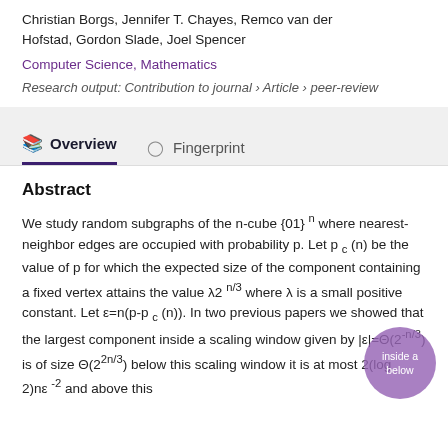Christian Borgs, Jennifer T. Chayes, Remco van der Hofstad, Gordon Slade, Joel Spencer
Computer Science, Mathematics
Research output: Contribution to journal › Article › peer-review
Overview
Fingerprint
Abstract
We study random subgraphs of the n-cube {01}^n where nearest-neighbor edges are occupied with probability p. Let p_c(n) be the value of p for which the expected size of the component containing a fixed vertex attains the value λ2^{n/3} where λ is a small positive constant. Let ε=n(p-p_c(n)). In two previous papers we showed that the largest component inside a scaling window given by |ε|=Θ(2^{-n/3}) is of size Θ(2^{2n/3}) below this scaling window it is at most 2(log 2)nε^{-2} and above this